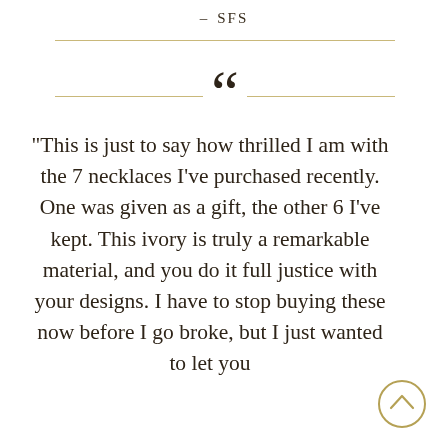– SFS
"This is just to say how thrilled I am with the 7 necklaces I've purchased recently. One was given as a gift, the other 6 I've kept. This ivory is truly a remarkable material, and you do it full justice with your designs. I have to stop buying these now before I go broke, but I just wanted to let you
[Figure (illustration): Circular scroll-up / back-to-top button with chevron arrow, gold outline]